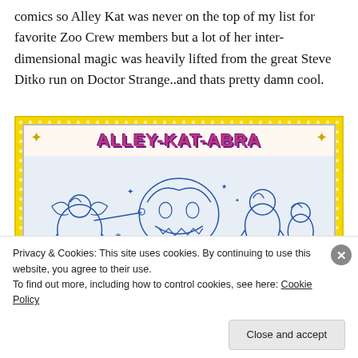comics so Alley Kat was never on the top of my list for favorite Zoo Crew members but a lot of her inter-dimensional magic was heavily lifted from the great Steve Ditko run on Doctor Strange..and thats pretty damn cool.
[Figure (illustration): Comic book cover or card for 'Alley-Kat-Abra' featuring cartoon superhero animal characters in blue ink illustration style on a yellow polka-dot background border. The title 'ALLEY-KAT-ABRA' is displayed in large pink/magenta bubble letters with decorative diamond compass-rose icons on each side. A 'Personal Data' badge appears in the lower right corner.]
Privacy & Cookies: This site uses cookies. By continuing to use this website, you agree to their use.
To find out more, including how to control cookies, see here: Cookie Policy